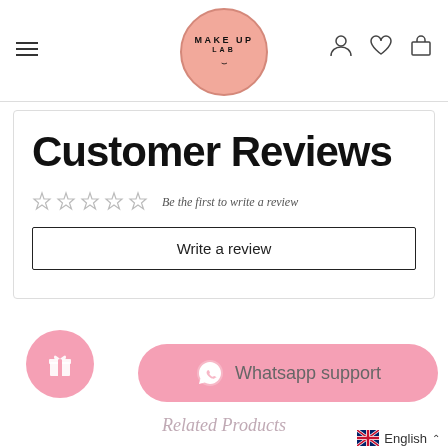[Figure (logo): Make Up Lab logo - pink circle with brand name]
Customer Reviews
☆☆☆☆☆ Be the first to write a review
Write a review
[Figure (illustration): Pink gift icon circle button]
[Figure (infographic): Whatsapp support pink rounded button with WhatsApp icon]
Related Products
English